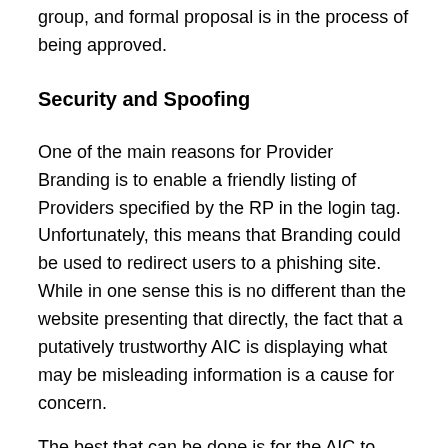group, and formal proposal is in the process of being approved.
Security and Spoofing
One of the main reasons for Provider Branding is to enable a friendly listing of Providers specified by the RP in the login tag. Unfortunately, this means that Branding could be used to redirect users to a phishing site. While in one sense this is no different than the website presenting that directly, the fact that a putatively trustworthy AIC is displaying what may be misleading information is a cause for concern.
The best that can be done is for the AIC to explicitly mark Providers as untrusted (vs. trusted) until they have been explicitly specified by the RP. But to avoid burdening the